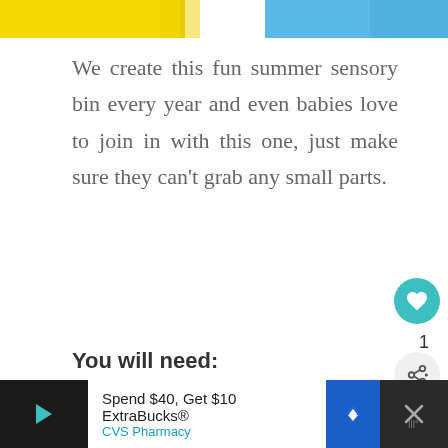[Figure (photo): Partial top edge of a colorful summer sensory bin image — yellow and blue colors visible at the top of the page.]
We create this fun summer sensory bin every year and even babies love to join in with this one, just make sure they can't grab any small parts.
You will need:
Shallow tray
Spend $40, Get $10 ExtraBucks® CVS Pharmacy